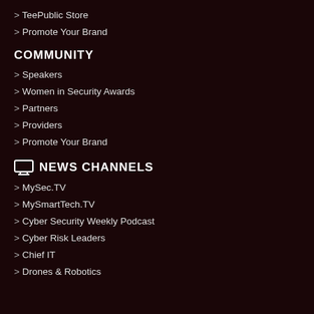> TeePublic Store
> Promote Your Brand
COMMUNITY
> Speakers
> Women in Security Awards
> Partners
> Providers
> Promote Your Brand
NEWS CHANNELS
> MySec.TV
> MySmartTech.TV
> Cyber Security Weekly Podcast
> Cyber Risk Leaders
> Chief IT
> Drones & Robotics